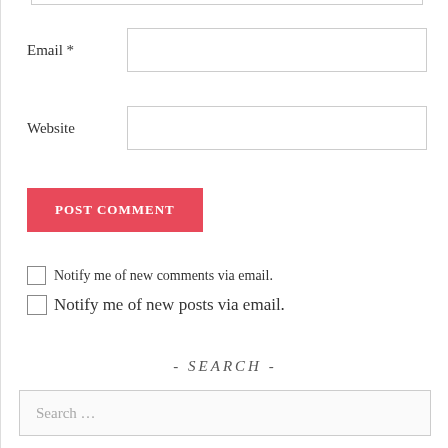Email *
Website
POST COMMENT
Notify me of new comments via email.
Notify me of new posts via email.
- SEARCH -
Search …